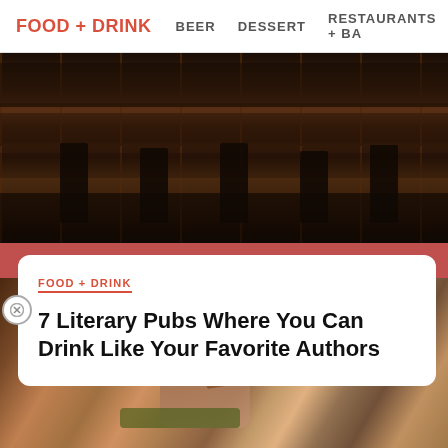FOOD + DRINK   BEER   DESSERT   RESTAURANTS + BA
[Figure (photo): Dark wooden bar interior with shelves of bottles, bar stools, and dim lighting]
FOOD + DRINK
7 Literary Pubs Where You Can Drink Like Your Favorite Authors
[Figure (photo): Video thumbnail showing a person in a canoe on a river surrounded by dense green forest trees, with play button overlay and label 'Lost on Purpos...']
[Figure (photo): Close-up of hands at a dining table with food and herbs, blurred background]